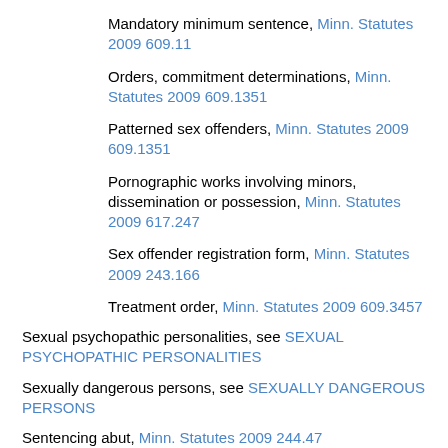Mandatory minimum sentence, Minn. Statutes 2009 609.11
Orders, commitment determinations, Minn. Statutes 2009 609.1351
Patterned sex offenders, Minn. Statutes 2009 609.1351
Pornographic works involving minors, dissemination or possession, Minn. Statutes 2009 617.247
Sex offender registration form, Minn. Statutes 2009 243.166
Treatment order, Minn. Statutes 2009 609.3457
Sexual psychopathic personalities, see SEXUAL PSYCHOPATHIC PERSONALITIES
Sexually dangerous persons, see SEXUALLY DANGEROUS PERSONS
Sentencing abut, Minn. Statutes 2009 244.47